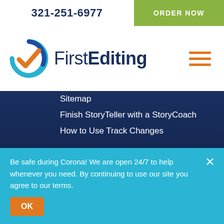321-251-6977 | ORDER NOW
[Figure (logo): FirstEditing logo with blue circular checkmark icon and orange check, text 'FirstEditing' in dark blue]
Sitemap
Finish StoryTeller with a StoryCoach
How to Use Track Changes
About Firstediting
CERTIFIED Structural Editors
Published Authors
Customer Reviews
Professional Editors
Be safe during Corona! We are open 24/7 to help whenever you need. By continuing to use our site you agree to our terms.
OK